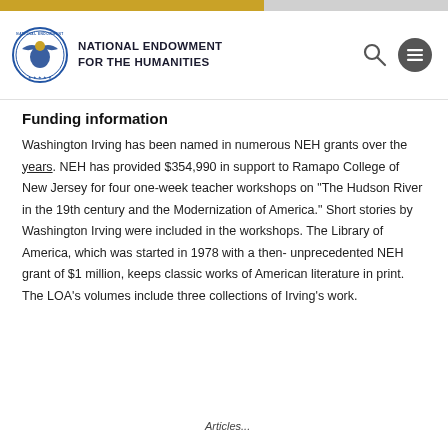NATIONAL ENDOWMENT FOR THE HUMANITIES
Funding information
Washington Irving has been named in numerous NEH grants over the years. NEH has provided $354,990 in support to Ramapo College of New Jersey for four one-week teacher workshops on "The Hudson River in the 19th century and the Modernization of America." Short stories by Washington Irving were included in the workshops. The Library of America, which was started in 1978 with a then-unprecedented NEH grant of $1 million, keeps classic works of American literature in print. The LOA's volumes include three collections of Irving's work.
[Figure (photo): Cover of Humanities magazine showing historical images]
Articles...